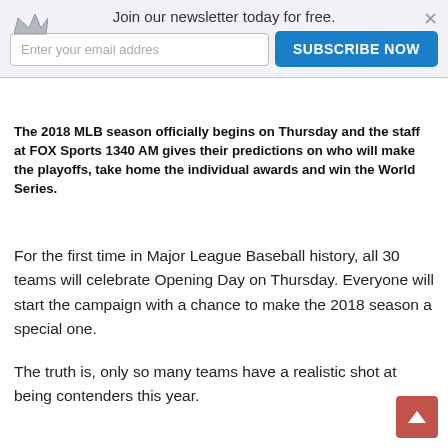Join our newsletter today for free.
The 2018 MLB season officially begins on Thursday and the staff at FOX Sports 1340 AM gives their predictions on who will make the playoffs, take home the individual awards and win the World Series.
For the first time in Major League Baseball history, all 30 teams will celebrate Opening Day on Thursday. Everyone will start the campaign with a chance to make the 2018 season a special one.
The truth is, only so many teams have a realistic shot at being contenders this year.